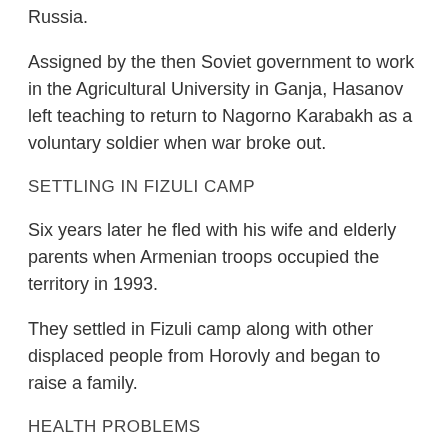Russia.
Assigned by the then Soviet government to work in the Agricultural University in Ganja, Hasanov left teaching to return to Nagorno Karabakh as a voluntary soldier when war broke out.
SETTLING IN FIZULI CAMP
Six years later he fled with his wife and elderly parents when Armenian troops occupied the territory in 1993.
They settled in Fizuli camp along with other displaced people from Horovly and began to raise a family.
HEALTH PROBLEMS
When Miriam was seven, Hasanov began to have serious health problems. Doctors say he won't survive without open-heart surgery.